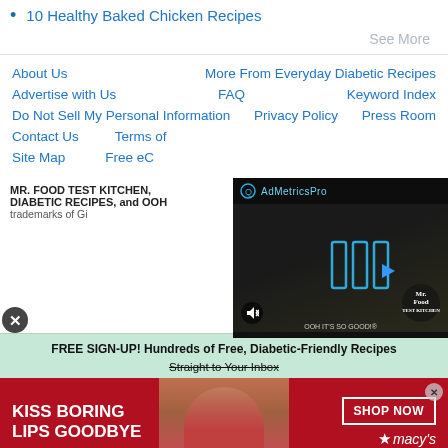10 Healthy Baked Chicken Recipes
See More
About Us   More From Everyday Diabetic Recipes   Advertise with Us   FAQ   Keyword Index   Do Not Sell My Personal Information   Privacy Policy   Press Room   Contact Us   Terms of   Site Map   Free eC
[Figure (screenshot): Video overlay from AdMetricsPro showing Mr. Food Test Kitchen video with play button, mute button, and brand logo on dark background]
MR. FOOD TEST KITCHEN, DIABETIC RECIPES, and OOH trademarks of Gi
[Figure (screenshot): Green signup bar: FREE SIGN-UP! Hundreds of Free, Diabetic-Friendly Recipes Straight to Your Inbox with close button]
[Figure (photo): Macy's advertisement banner: KISS BORING LIPS GOODBYE with woman photo and SHOP NOW button and Macy's star logo on red background]